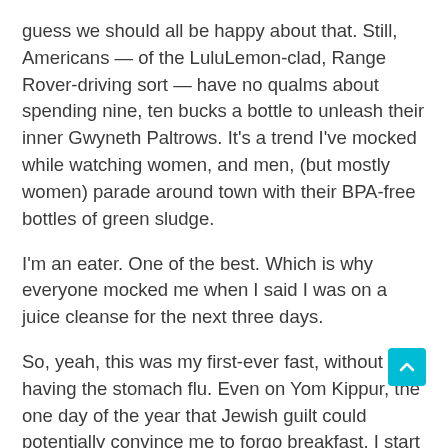guess we should all be happy about that. Still, Americans — of the LuluLemon-clad, Range Rover-driving sort — have no qualms about spending nine, ten bucks a bottle to unleash their inner Gwyneth Paltrows. It's a trend I've mocked while watching women, and men, (but mostly women) parade around town with their BPA-free bottles of green sludge.
I'm an eater. One of the best. Which is why everyone mocked me when I said I was on a juice cleanse for the next three days.
So, yeah, this was my first-ever fast, without having the stomach flu. Even on Yom Kippur, the one day of the year that Jewish guilt could potentially convince me to forgo breakfast, I start the day off with a three-egg omelet. I'm an eater. One of the best.
And, for better or worse, of the body type that's more or less able to withstand an above average level of gluttony. Which is why everyone mocked me when I said I was on a juice cleanse for the next three